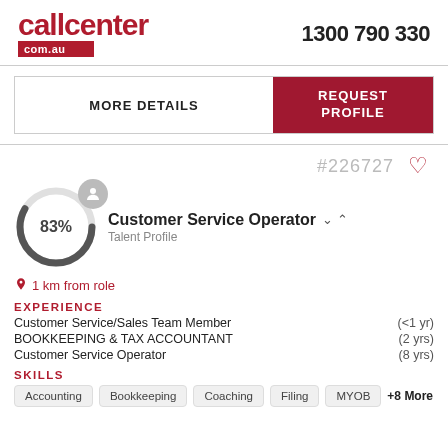[Figure (logo): callcenter.com.au logo in red with phone number 1300 790 330]
MORE DETAILS
REQUEST PROFILE
#226727
[Figure (infographic): Circular progress indicator showing 83% with user avatar icon]
Customer Service Operator
Talent Profile
1 km from role
EXPERIENCE
Customer Service/Sales Team Member   (<1 yr)
BOOKKEEPING & TAX ACCOUNTANT   (2 yrs)
Customer Service Operator   (8 yrs)
SKILLS
Accounting   Bookkeeping   Coaching   Filing   MYOB   +8 More